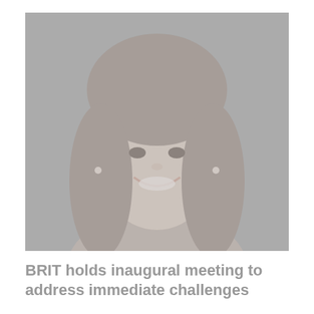[Figure (photo): Faded/muted headshot photo of a smiling middle-aged woman with straight dark hair and bangs, wearing a sleeveless top, against a gray background.]
BRIT holds inaugural meeting to address immediate challenges